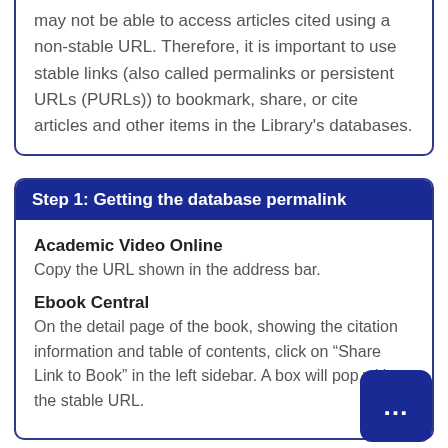may not be able to access articles cited using a non-stable URL. Therefore, it is important to use stable links (also called permalinks or persistent URLs (PURLs)) to bookmark, share, or cite articles and other items in the Library's databases.
Step 1: Getting the database permalink
Academic Video Online
Copy the URL shown in the address bar.
Ebook Central
On the detail page of the book, showing the citation information and table of contents, click on “Share Link to Book” in the left sidebar. A box will pop with the stable URL.